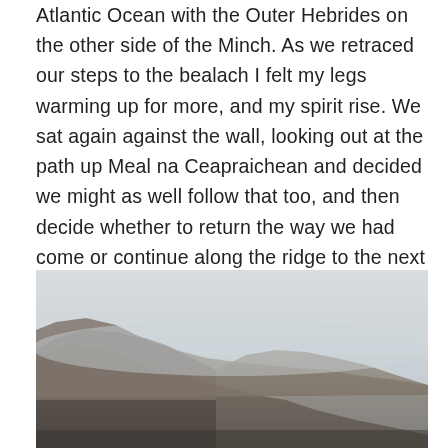Atlantic Ocean with the Outer Hebrides on the other side of the Minch. As we retraced our steps to the bealach I felt my legs warming up for more, and my spirit rise. We sat again against the wall, looking out at the path up Meal na Ceapraichean and decided we might as well follow that too, and then decide whether to return the way we had come or continue along the ridge to the next bealach and the choice of continuing up Edidh nan Clach Geala or following a stalkers' path back more or less to the tents.
[Figure (photo): A misty, overcast landscape photograph showing a Scottish highland ridge or hill, partially shrouded in low cloud or fog. The terrain is brown and rocky, with rolling slopes visible under a pale grey sky.]